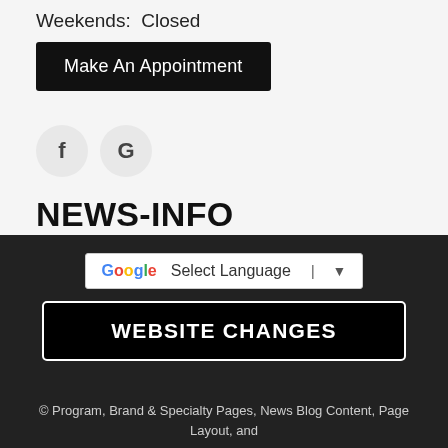Weekends:  Closed
Make An Appointment
[Figure (other): Facebook and Google social media icon circles]
NEWS-INFO
Grateful for their honesty!
Fleet Vehicles and The ABS Light
Is My Gas Going Bad?
[Figure (other): Google Translate Select Language dropdown widget]
WEBSITE CHANGES
© Program, Brand & Specialty Pages, News Blog Content, Page Layout, and AMP Franchise Program developed by AMP Client, APS Websites, Tommy ...